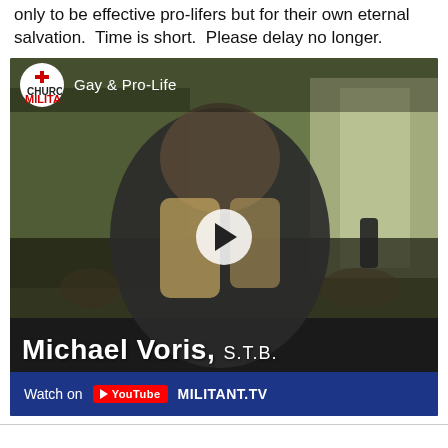only to be effective pro-lifers but for their own eternal salvation.  Time is short.  Please delay no longer.
[Figure (screenshot): YouTube video embed showing a man in a winter jacket holding a microphone outdoors at what appears to be a pro-life march. The video is from Church Militant and is titled 'Gay & Pro-Life'. Lower third text reads 'Michael Voris, S.T.B.' and bottom bar shows 'Watch on YouTube' and 'MILITANT.TV'.]